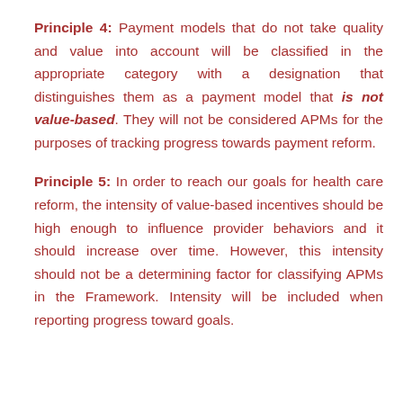Principle 4: Payment models that do not take quality and value into account will be classified in the appropriate category with a designation that distinguishes them as a payment model that is not value-based. They will not be considered APMs for the purposes of tracking progress towards payment reform.
Principle 5: In order to reach our goals for health care reform, the intensity of value-based incentives should be high enough to influence provider behaviors and it should increase over time. However, this intensity should not be a determining factor for classifying APMs in the Framework. Intensity will be included when reporting progress toward goals.